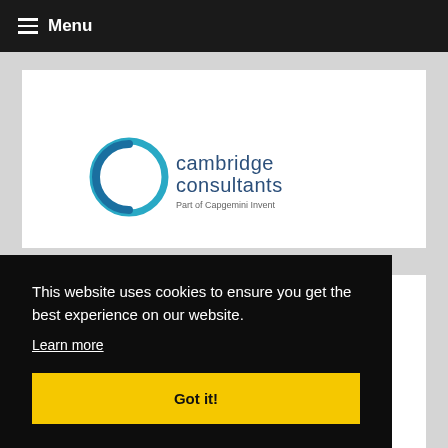☰ Menu
[Figure (logo): Cambridge Consultants logo — stylised C mark with 'cambridge consultants' text and 'Part of Capgemini Invent' subtitle]
Gold Sponsors (IoT)
[Figure (logo): Supermicro logo — green oval with SUPERMICRO text and red circle dot on the O]
This website uses cookies to ensure you get the best experience on our website.
Learn more
Got it!